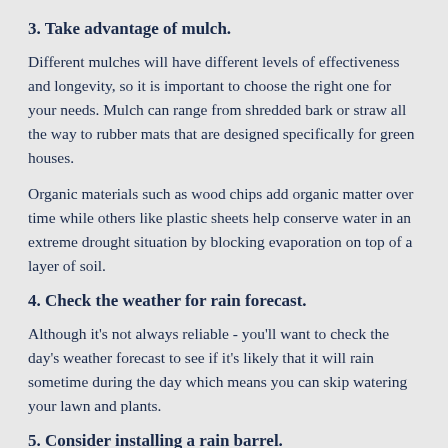3. Take advantage of mulch.
Different mulches will have different levels of effectiveness and longevity, so it is important to choose the right one for your needs. Mulch can range from shredded bark or straw all the way to rubber mats that are designed specifically for green houses.
Organic materials such as wood chips add organic matter over time while others like plastic sheets help conserve water in an extreme drought situation by blocking evaporation on top of a layer of soil.
4. Check the weather for rain forecast.
Although it's not always reliable - you'll want to check the day's weather forecast to see if it's likely that it will rain sometime during the day which means you can skip watering your lawn and plants.
5. Consider installing a rain barrel.